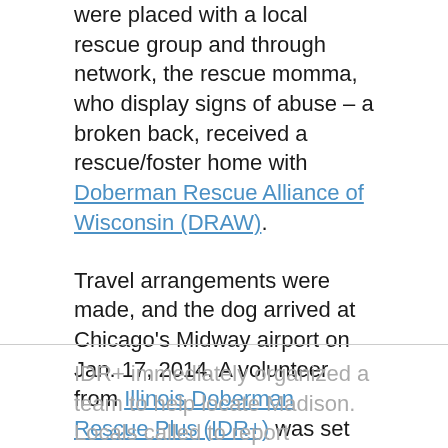were placed with a local rescue group and through network, the rescue momma, who display signs of abuse – a broken back, received a rescue/foster home with Doberman Rescue Alliance of Wisconsin (DRAW).
Travel arrangements were made, and the dog arrived at Chicago's Midway airport on Jan. 17, 2014. A volunteer from Illinois Doberman Rescue Plus (IDR+) was set to take the pet to Wisconsin via car, but while at the airport on a potty break, the canine got spooked, slipped her leash, ran away, and got lost in Chicago's South side.
IDR+ immediately organized a team to help locate Madison. Locals called to report